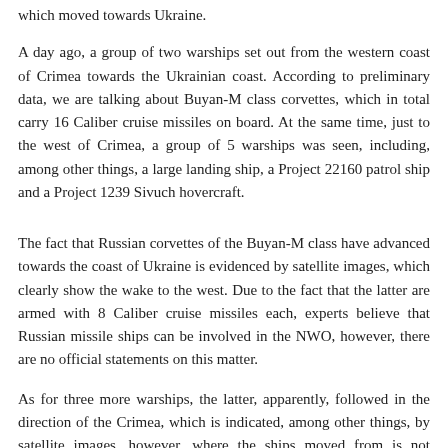which moved towards Ukraine.
A day ago, a group of two warships set out from the western coast of Crimea towards the Ukrainian coast. According to preliminary data, we are talking about Buyan-M class corvettes, which in total carry 16 Caliber cruise missiles on board. At the same time, just to the west of Crimea, a group of 5 warships was seen, including, among other things, a large landing ship, a Project 22160 patrol ship and a Project 1239 Sivuch hovercraft.
The fact that Russian corvettes of the Buyan-M class have advanced towards the coast of Ukraine is evidenced by satellite images, which clearly show the wake to the west. Due to the fact that the latter are armed with 8 Caliber cruise missiles each, experts believe that Russian missile ships can be involved in the NWO, however, there are no official statements on this matter.
As for three more warships, the latter, apparently, followed in the direction of the Crimea, which is indicated, among other things, by satellite images, however, where the ships moved from is not specified.